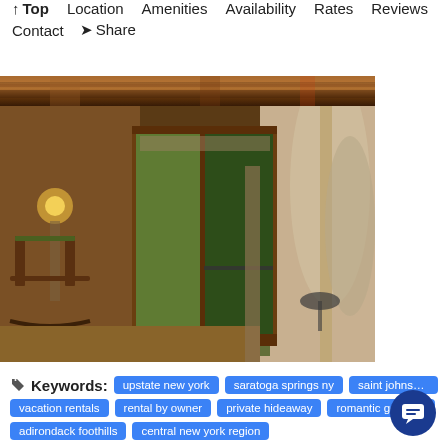↑ Top   Location   Amenities   Availability   Rates   Reviews   Contact   ➤ Share
[Figure (photo): Top strip showing rustic wooden beam/log frame detail in warm brown tones]
[Figure (photo): Interior photo of a rustic cabin room with wooden sliding glass doors leading to a screened porch with outdoor furniture, a twig rocking chair on the left, warm lamp lighting, and trees visible outside]
🏷 Keywords: upstate new york  saratoga springs ny  saint johnsville ny  vacation rentals  rental by owner  private hideaway  romantic getaway  adirondack foothills  central new york region